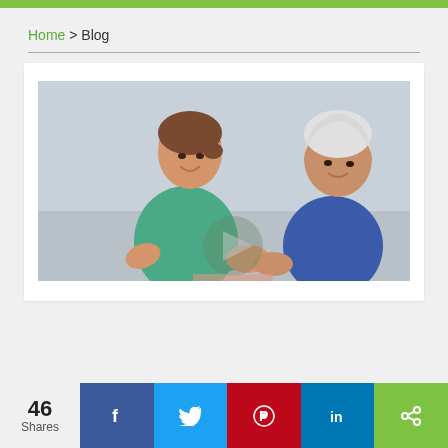Home > Blog
[Figure (photo): A smiling nurse in green scrubs sitting next to a smiling elderly woman in a blue sweater, appearing to hold hands]
46 Shares | Facebook | Twitter | Pinterest | LinkedIn | Share